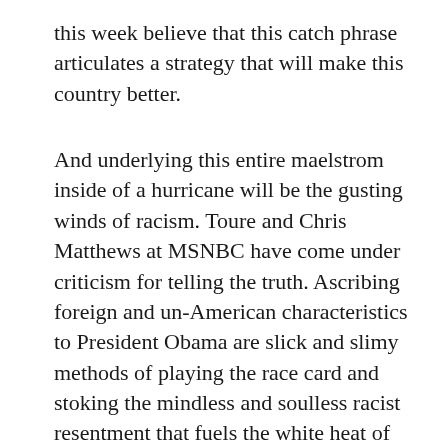this week believe that this catch phrase articulates a strategy that will make this country better.
And underlying this entire maelstrom inside of a hurricane will be the gusting winds of racism. Toure and Chris Matthews at MSNBC have come under criticism for telling the truth. Ascribing foreign and un-American characteristics to President Obama are slick and slimy methods of playing the race card and stoking the mindless and soulless racist resentment that fuels the white heat of opposition to the very existence